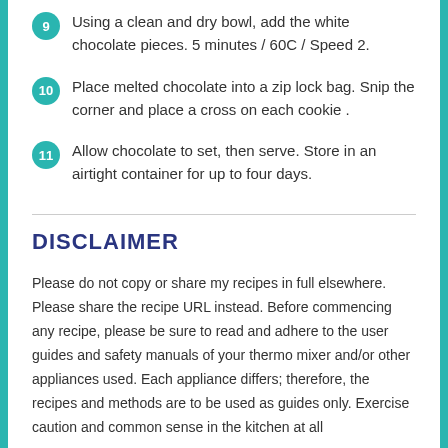9 Using a clean and dry bowl, add the white chocolate pieces. 5 minutes / 60C / Speed 2.
10 Place melted chocolate into a zip lock bag. Snip the corner and place a cross on each cookie .
11 Allow chocolate to set, then serve. Store in an airtight container for up to four days.
DISCLAIMER
Please do not copy or share my recipes in full elsewhere. Please share the recipe URL instead. Before commencing any recipe, please be sure to read and adhere to the user guides and safety manuals of your thermo mixer and/or other appliances used. Each appliance differs; therefore, the recipes and methods are to be used as guides only. Exercise caution and common sense in the kitchen at all